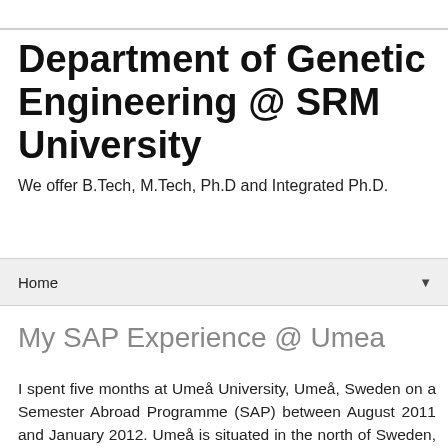Department of Genetic Engineering @ SRM University
We offer B.Tech, M.Tech, Ph.D and Integrated Ph.D.
Home
My SAP Experience @ Umea
I spent five months at Umeå University, Umeå, Sweden on a Semester Abroad Programme (SAP) between August 2011 and January 2012. Umeå is situated in the north of Sweden, a mere 400 kilometres from the arctic circle. The journey to Umeå from Chennai lasted a sum total of around 30 hours by air – on four flights, across five airports!